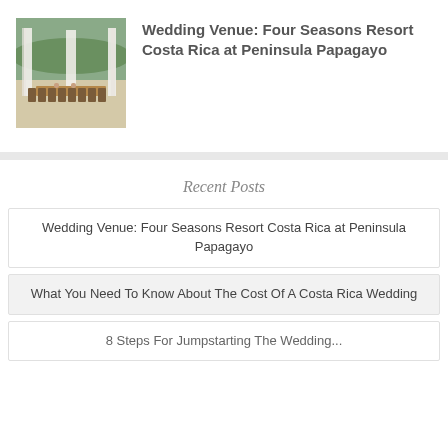[Figure (photo): Outdoor wedding reception table setting with white drapes and long dining table]
Wedding Venue: Four Seasons Resort Costa Rica at Peninsula Papagayo
Recent Posts
Wedding Venue: Four Seasons Resort Costa Rica at Peninsula Papagayo
What You Need To Know About The Cost Of A Costa Rica Wedding
8 Steps For Jumpstarting The Wedding...